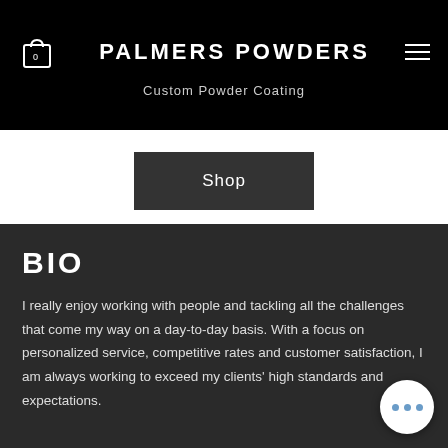PALMERS POWDERS — Custom Powder Coating
Shop
BIO
I really enjoy working with people and tackling all the challenges that come my way on a day-to-day basis. With a focus on personalized service, competitive rates and customer satisfaction, I am always working to exceed my clients' high standards and expectations.